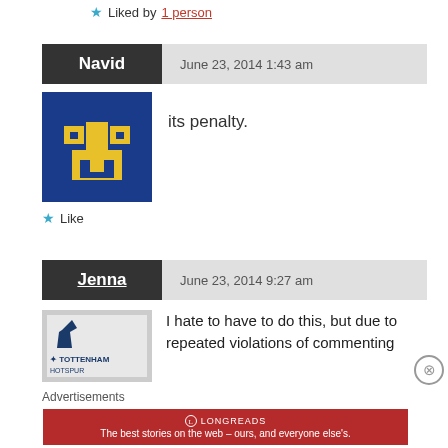★ Liked by 1 person
Navid  June 23, 2014 1:43 am
[Figure (illustration): Pixel art avatar icon in blue and yellow on dark blue background]
its penalty.
★ Like
Jenna  June 23, 2014 9:27 am
[Figure (logo): Tottenham Hotspur logo on grey/white background]
I hate to have to do this, but due to repeated violations of commenting
Advertisements
[Figure (infographic): Longreads advertisement banner: red background with Longreads logo and text 'The best stories on the web — ours, and everyone else's.']